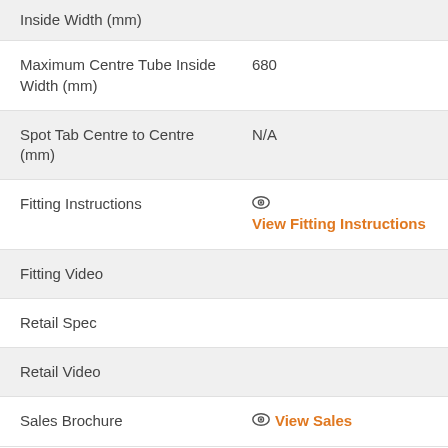| Inside Width (mm) |  |
| Maximum Centre Tube Inside Width (mm) | 680 |
| Spot Tab Centre to Centre (mm) | N/A |
| Fitting Instructions | View Fitting Instructions |
| Fitting Video |  |
| Retail Spec |  |
| Retail Video |  |
| Sales Brochure | View Sales |